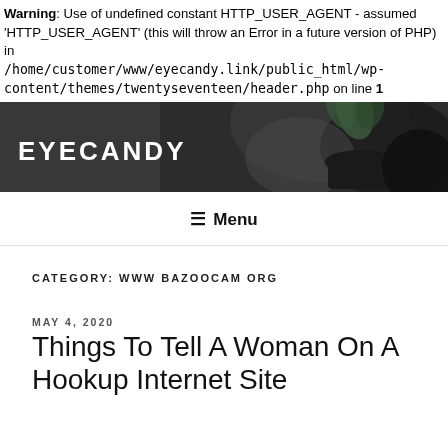Warning: Use of undefined constant HTTP_USER_AGENT - assumed 'HTTP_USER_AGENT' (this will throw an Error in a future version of PHP) in /home/customer/www/eyecandy.link/public_html/wp-content/themes/twentyseventeen/header.php on line 1
[Figure (photo): Website banner with dark background showing a succulent plant in a black pot and the word EYECANDY in white bold uppercase letters]
≡ Menu
CATEGORY: WWW BAZOOCAM ORG
MAY 4, 2020
Things To Tell A Woman On A Hookup Internet Site